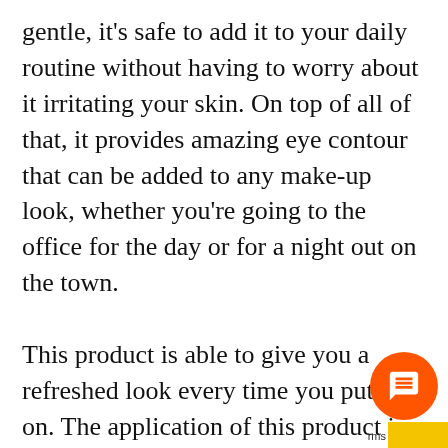gentle, it's safe to add it to your daily routine without having to worry about it irritating your skin. On top of all of that, it provides amazing eye contour that can be added to any make-up look, whether you're going to the office for the day or for a night out on the town.
This product is able to give you a refreshed look every time you put it on. The application of this product is simple, all you need to do is gently dab it under your eyes in the morning and in the evening. With its three simple active ingredients, this product really fully encapsulates the “less is more” attitude o